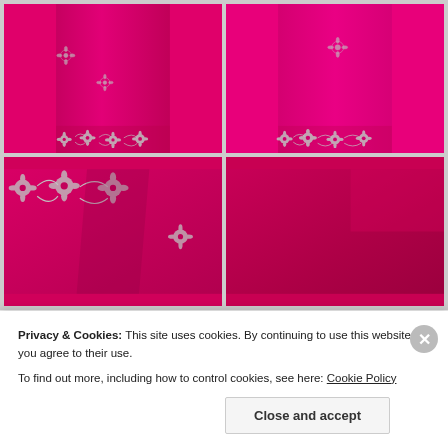[Figure (photo): Top-left: Close-up of hot pink/magenta fabric with silver embroidered floral motifs along the border]
[Figure (photo): Top-right: Close-up of bright magenta fabric with silver embroidered floral/leaf motifs along the border]
[Figure (photo): Bottom-left: Close-up of dark pink fabric with silver sequin/embroidered border decoration]
[Figure (photo): Bottom-right: Close-up of deep crimson-pink fabric]
Privacy & Cookies: This site uses cookies. By continuing to use this website, you agree to their use.
To find out more, including how to control cookies, see here: Cookie Policy
Close and accept